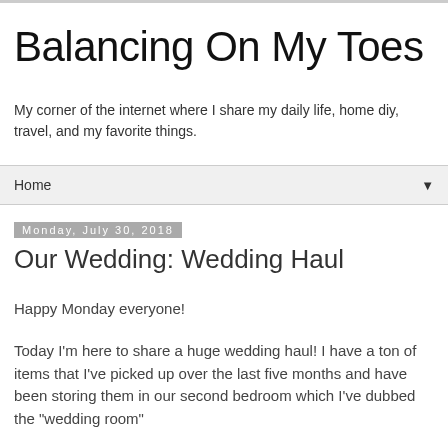Balancing On My Toes
My corner of the internet where I share my daily life, home diy, travel, and my favorite things.
Home ▼
Monday, July 30, 2018
Our Wedding: Wedding Haul
Happy Monday everyone!
Today I'm here to share a huge wedding haul! I have a ton of items that I've picked up over the last five months and have been storing them in our second bedroom which I've dubbed the "wedding room"